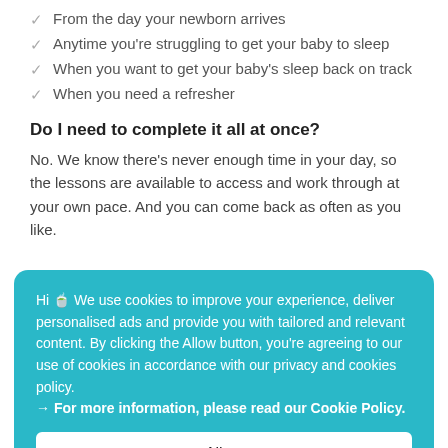From the day your newborn arrives
Anytime you're struggling to get your baby to sleep
When you want to get your baby's sleep back on track
When you need a refresher
Do I need to complete it all at once?
No. We know there's never enough time in your day, so the lessons are available to access and work through at your own pace. And you can come back as often as you like.
Hi 🍵 We use cookies to improve your experience, deliver personalised ads and provide you with tailored and relevant content. By clicking the Allow button, you're agreeing to our use of cookies in accordance with our privacy and cookies policy. → For more information, please read our Cookie Policy.